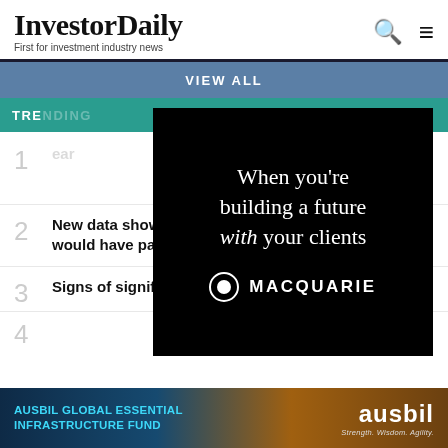InvestorDaily — First for investment industry news
VIEW ALL
[Figure (advertisement): Macquarie advertisement: 'When you're building a future with your clients' with Macquarie logo on black background]
TRE[NDING]
[article 1 — truncated by overlay] ...ear
New data shows how many Choice super products would have passed APRA's performance test
Signs of significant spending increases in [article 3 partial]
[article 4 — partial]
[Figure (advertisement): Ausbil Global Essential Infrastructure Fund advertisement with wind turbines background and ausbil logo]